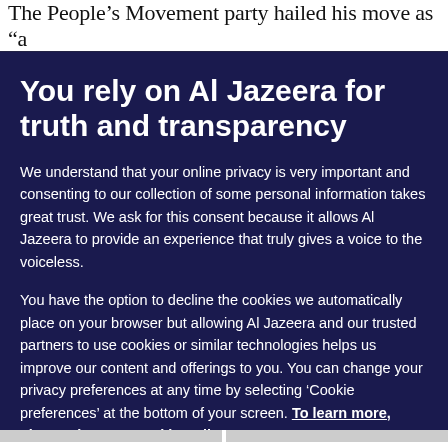The People’s Movement party hailed his move as “a
You rely on Al Jazeera for truth and transparency
We understand that your online privacy is very important and consenting to our collection of some personal information takes great trust. We ask for this consent because it allows Al Jazeera to provide an experience that truly gives a voice to the voiceless.
You have the option to decline the cookies we automatically place on your browser but allowing Al Jazeera and our trusted partners to use cookies or similar technologies helps us improve our content and offerings to you. You can change your privacy preferences at any time by selecting ‘Cookie preferences’ at the bottom of your screen. To learn more, please view our Cookie Policy.